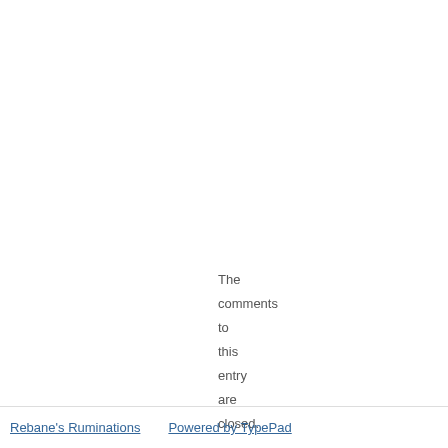The comments to this entry are closed.
Rebane's Ruminations   Powered by TypePad